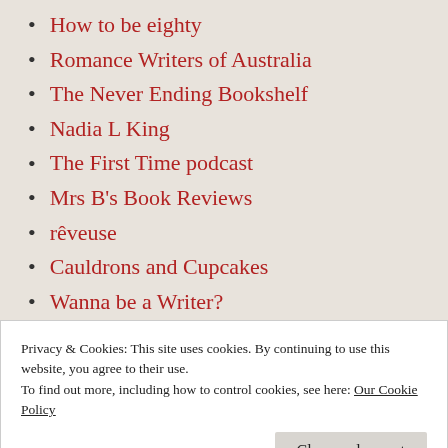How to be eighty
Romance Writers of Australia
The Never Ending Bookshelf
Nadia L King
The First Time podcast
Mrs B's Book Reviews
rêveuse
Cauldrons and Cupcakes
Wanna be a Writer?
The Little Mermaid
Dr. Eric Perry's Blog
Privacy & Cookies: This site uses cookies. By continuing to use this website, you agree to their use.
To find out more, including how to control cookies, see here: Our Cookie Policy
Close and accept